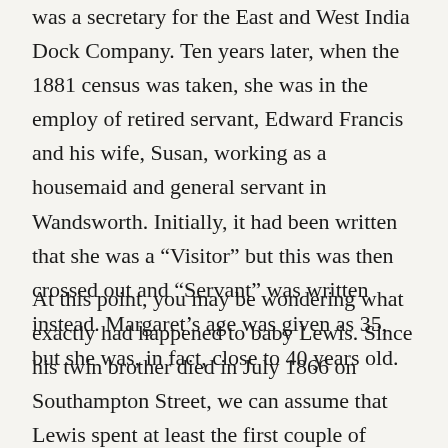was a secretary for the East and West India Dock Company. Ten years later, when the 1881 census was taken, she was in the employ of retired servant, Edward Francis and his wife, Susan, working as a housemaid and general servant in Wandsworth. Initially, it had been written that she was a “Visitor” but this was then crossed out and “Servant” was written instead. Margaret’s age was given as 35, but she was, in fact, close to 40 years old.
At this point, you may be wondering what exactly had happened to baby Lewis. Since his twin brother died in July 1866 on Southampton Street, we can assume that Lewis spent at least the first couple of months of his life with his mother. However, by the